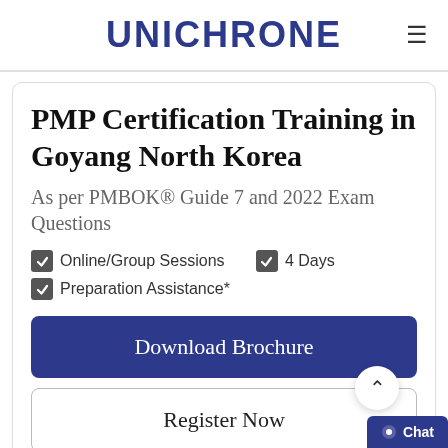UNICHRONE
PMP Certification Training in Goyang North Korea
As per PMBOK® Guide 7 and 2022 Exam Questions
Online/Group Sessions
4 Days
Preparation Assistance*
Download Brochure
Register Now
Learn from Industry Experts